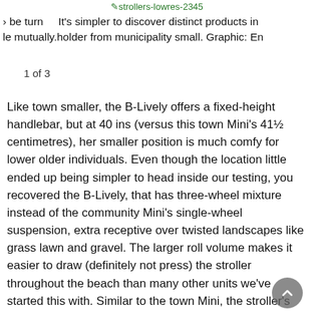[Figure (other): Image thumbnail placeholder labeled strollers-lowres-2345]
› be turn    It's simpler to discover distinct products in le mutually.holder from municipality small. Graphic: En
1 of 3
Like town smaller, the B-Lively offers a fixed-height handlebar, but at 40 ins (versus this town Mini's 41½ centimetres), her smaller position is much comfy for lower older individuals. Even though the location little ended up being simpler to head inside our testing, you recovered the B-Lively, that has three-wheel mixture instead of the community Mini's single-wheel suspension, extra receptive over twisted landscapes like grass lawn and gravel. The larger roll volume makes it easier to draw (definitely not press) the stroller throughout the beach than many other units we've started this with. Similar to the town Mini, the stroller's back once again helm are usually print within the frame, rendering it challenging to estimate how spacious it